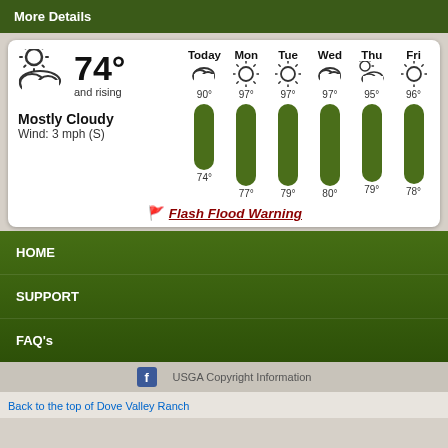More Details
[Figure (screenshot): Weather widget showing current conditions (Mostly Cloudy, 74° and rising, Wind: 3 mph (S)) and 6-day forecast with temperature bars. Flash Flood Warning shown.]
HOME
SUPPORT
FAQ's
USGA Copyright Information
Back to the top of Dove Valley Ranch